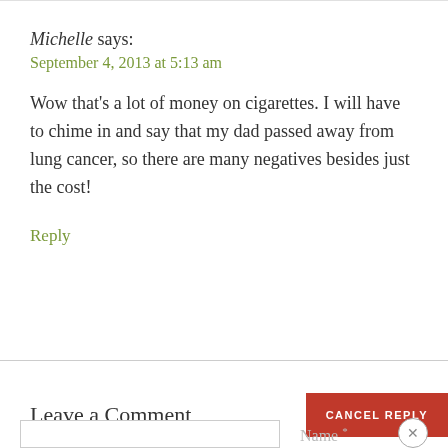Michelle says:
September 4, 2013 at 5:13 am
Wow that's a lot of money on cigarettes. I will have to chime in and say that my dad passed away from lung cancer, so there are many negatives besides just the cost!
Reply
Leave a Comment
CANCEL REPLY
Name *